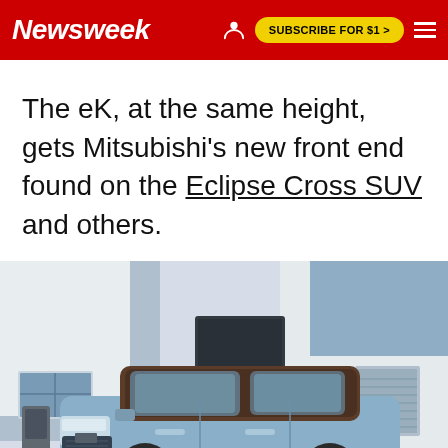Newsweek | SUBSCRIBE FOR $1 >
The eK, at the same height, gets Mitsubishi's new front end found on the Eclipse Cross SUV and others.
[Figure (photo): A light blue compact electric SUV (Mitsubishi eK) parked in front of a modern white and blue building with a charging unit visible on the left side. The car has a dark brown/black roof and distinctive angular front end design.]